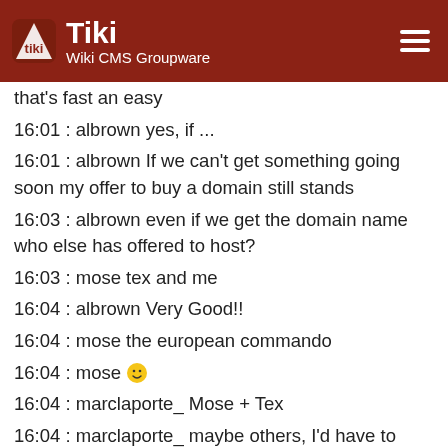Tiki Wiki CMS Groupware
that's fast an easy
16:01 : albrown yes, if ...
16:01 : albrown If we can't get something going soon my offer to buy a domain still stands
16:03 : albrown even if we get the domain name who else has offered to host?
16:03 : mose tex and me
16:04 : albrown Very Good!!
16:04 : mose the european commando
16:04 : mose 😀
16:04 : marclaporte_ Mose + Tex
16:04 : marclaporte_ maybe others, I'd have to check
16:04 : marclaporte_ I must say that Mose's multi site thingy is most interesting
16:04 : mose I install 2 sites per week 😀
16:05 : mose too easy
16:05 : albrown I can always point alt thetinfoilhat.com to